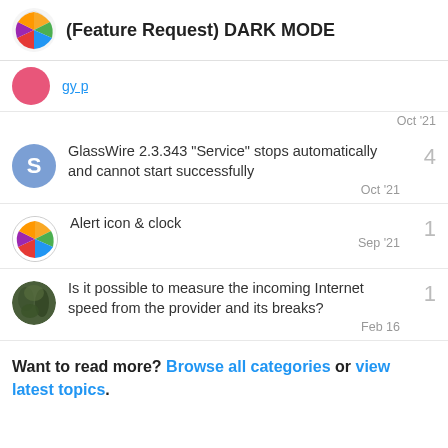(Feature Request) DARK MODE
partially visible link text (cut off)
Oct '21
GlassWire 2.3.343 “Service” stops automatically and cannot start successfully — 4 replies — Oct '21
Alert icon & clock — 1 reply — Sep '21
Is it possible to measure the incoming Internet speed from the provider and its breaks? — 1 reply — Feb 16
Want to read more? Browse all categories or view latest topics.